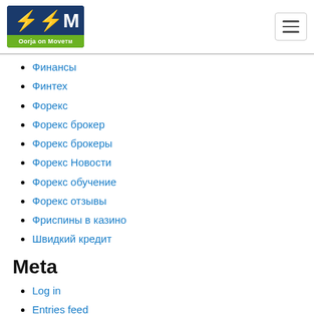Oorja on Move
Финансы
Финтех
Форекс
Форекс брокер
Форекс брокеры
Форекс Новости
Форекс обучение
Форекс отзывы
Фриспины в казино
Швидкий кредит
Meta
Log in
Entries feed
Comments feed